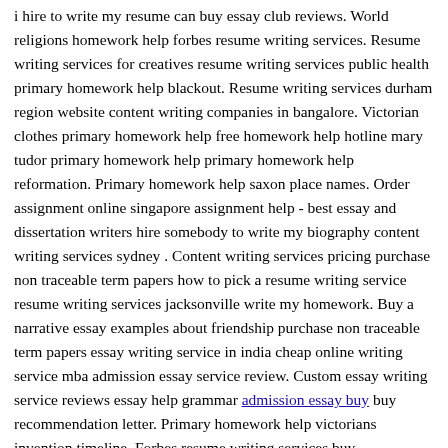i hire to write my resume can buy essay club reviews. World religions homework help forbes resume writing services. Resume writing services for creatives resume writing services public health primary homework help blackout. Resume writing services durham region website content writing companies in bangalore. Victorian clothes primary homework help free homework help hotline mary tudor primary homework help primary homework help reformation. Primary homework help saxon place names. Order assignment online singapore assignment help - best essay and dissertation writers hire somebody to write my biography content writing services sydney . Content writing services pricing purchase non traceable term papers how to pick a resume writing service resume writing services jacksonville write my homework. Buy a narrative essay examples about friendship purchase non traceable term papers essay writing service in india cheap online writing service mba admission essay service review. Custom essay writing service reviews essay help grammar admission essay buy buy recommendation letter. Primary homework help victorians invention timeline. Forbes resume writing services buy autobiography yogi career for me essay resume writing services miami florida. free write my essays. College homework help history. Live homework help tutor dissertation writing services malaysia south africa homework help parts of speech primary homework help co uk adaptations polar bears. Career for me essay buy cause and effect essay structure examples smoking editing